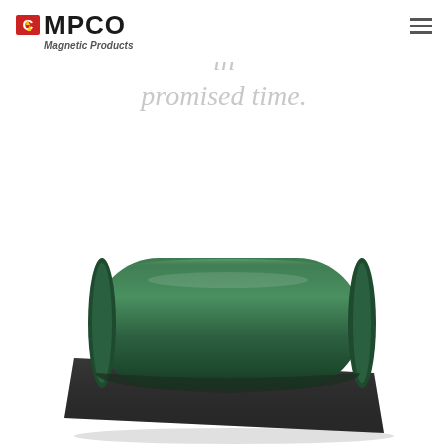CMPCO Magnetic Products
capabilities to produce any magnets in promised time.
[Figure (photo): A rolled green flexible magnetic sheet partially unrolled, showing the dark/black underside, photographed on a white background.]